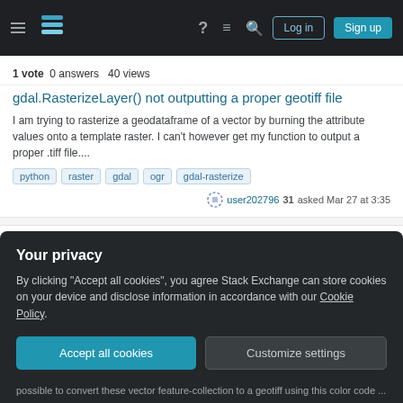Stack Exchange navigation bar with Log in and Sign up buttons
1 vote  0 answers  40 views
gdal.RasterizeLayer() not outputting a proper geotiff file
I am trying to rasterize a geodataframe of a vector by burning the attribute values onto a template raster. I can't however get my function to output a proper .tiff file....
python  raster  gdal  ogr  gdal-rasterize
user202796  31  asked Mar 27 at 3:35
2 votes  0 answers  52 views
Unable to burn attribute values from vector shapefile onto raster using gdal.RasterizeLayer
I am trying to rasterize a shapefile but keep getting errors regarding either my disk space or something about overwriting existing tiff files. The field is an integer in the
Your privacy
By clicking "Accept all cookies", you agree Stack Exchange can store cookies on your device and disclose information in accordance with our Cookie Policy.
Accept all cookies  Customize settings
possible to convert these vector feature-collection to a geotiff using this color code ...